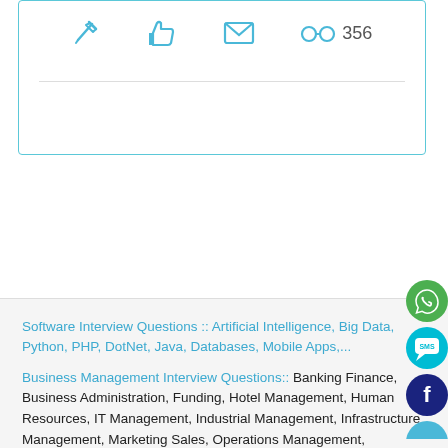[Figure (screenshot): Top card with action icons (edit pencil, thumbs up, envelope/mail, eyeglasses with 356 views) and a horizontal divider inside a bordered box]
[Figure (infographic): Social media floating icons on right: WhatsApp (green circle with phone), SMS (teal chat bubble), Facebook (dark blue circle with f), and partial fourth icon]
Software Interview Questions :: Artificial Intelligence, Big Data, Python, PHP, DotNet, Java, Databases, Mobile Apps,...
Business Management Interview Questions:: Banking Finance, Business Administration, Funding, Hotel Management, Human Resources, IT Management, Industrial Management, Infrastructure Management, Marketing Sales, Operations Management,